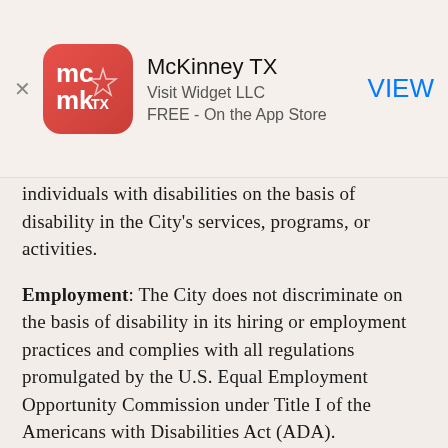[Figure (screenshot): App Store banner showing McKinney TX app by Visit Widget LLC, FREE - On the App Store, with VIEW button]
individuals with disabilities on the basis of disability in the City's services, programs, or activities.
Employment: The City does not discriminate on the basis of disability in its hiring or employment practices and complies with all regulations promulgated by the U.S. Equal Employment Opportunity Commission under Title I of the Americans with Disabilities Act (ADA).
Effective Communication: The City will generally, upon request, provide appropriate aids and services leading to effective communication for qualified persons with disabilities so they can participate equally in the City's programs, services, and activities, including qualified sign language interpreters, documents in Braille, and